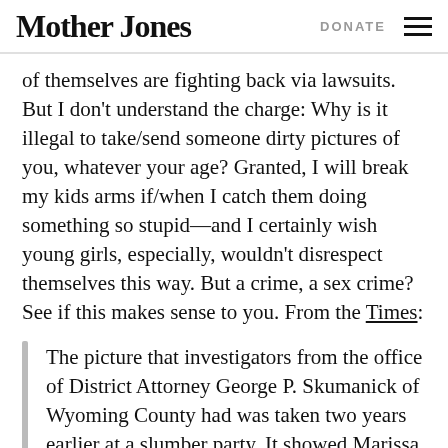Mother Jones | DONATE
of themselves are fighting back via lawsuits. But I don't understand the charge: Why is it illegal to take/send someone dirty pictures of you, whatever your age? Granted, I will break my kids arms if/when I catch them doing something so stupid—and I certainly wish young girls, especially, wouldn't disrespect themselves this way. But a crime, a sex crime? See if this makes sense to you. From the Times:
The picture that investigators from the office of District Attorney George P. Skumanick of Wyoming County had was taken two years earlier at a slumber party. It showed Marissa